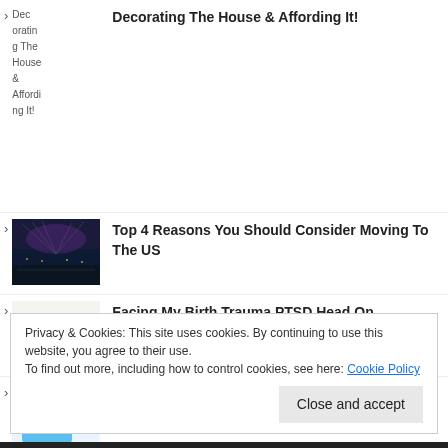Decorating The House & Affording It!
Top 4 Reasons You Should Consider Moving To The US
Facing My Birth Trauma PTSD Head On
Zimpli Gelli Spa Review
Privacy & Cookies: This site uses cookies. By continuing to use this website, you agree to their use.
To find out more, including how to control cookies, see here: Cookie Policy
Close and accept